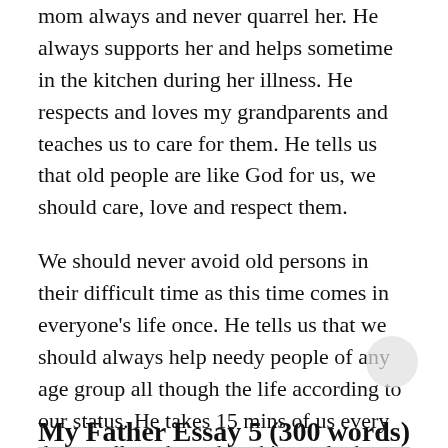mom always and never quarrel her. He always supports her and helps sometime in the kitchen during her illness. He respects and loves my grandparents and teaches us to care for them. He tells us that old people are like God for us, we should care, love and respect them.
We should never avoid old persons in their difficult time as this time comes in everyone’s life once. He tells us that we should always help needy people of any age group all though the life according to our status. He takes 15 mins of us every day to tell us about the ethics and other good habits.
My Father Essay 5 (300 words)